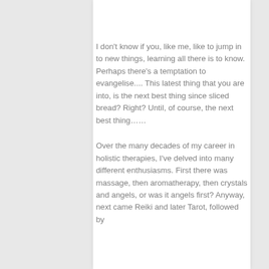I don't know if you, like me, like to jump in to new things, learning all there is to know. Perhaps there's a temptation to evangelise.... This latest thing that you are into, is the next best thing since sliced bread? Right? Until, of course, the next best thing……
Over the many decades of my career in holistic therapies, I've delved into many different enthusiasms. First there was massage, then aromatherapy, then crystals and angels, or was it angels first? Anyway, next came Reiki and later Tarot, followed by